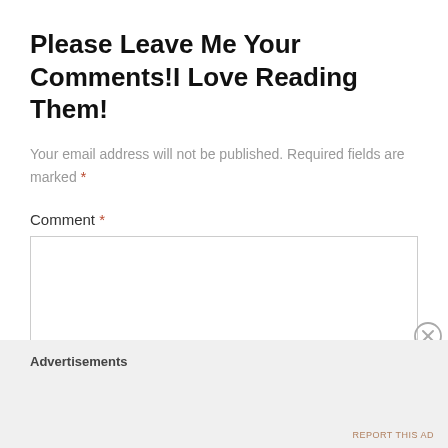Please Leave Me Your Comments!I Love Reading Them!
Your email address will not be published. Required fields are marked *
Comment *
[Figure (screenshot): Empty comment text area input box with a light border]
[Figure (other): Close/dismiss circle icon (X symbol)]
Advertisements
REPORT THIS AD